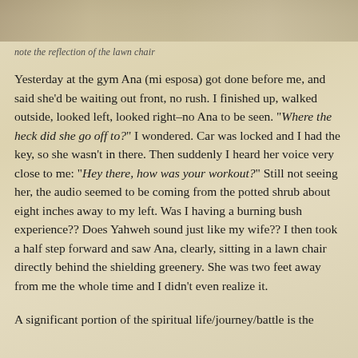[Figure (photo): Top portion of a photo showing a reflective surface, cropped at top of page]
note the reflection of the lawn chair
Yesterday at the gym Ana (mi esposa) got done before me, and said she'd be waiting out front, no rush. I finished up, walked outside, looked left, looked right–no Ana to be seen. "Where the heck did she go off to?" I wondered. Car was locked and I had the key, so she wasn't in there. Then suddenly I heard her voice very close to me: "Hey there, how was your workout?" Still not seeing her, the audio seemed to be coming from the potted shrub about eight inches away to my left. Was I having a burning bush experience?? Does Yahweh sound just like my wife?? I then took a half step forward and saw Ana, clearly, sitting in a lawn chair directly behind the shielding greenery. She was two feet away from me the whole time and I didn't even realize it.
A significant portion of the spiritual life/journey/battle is the